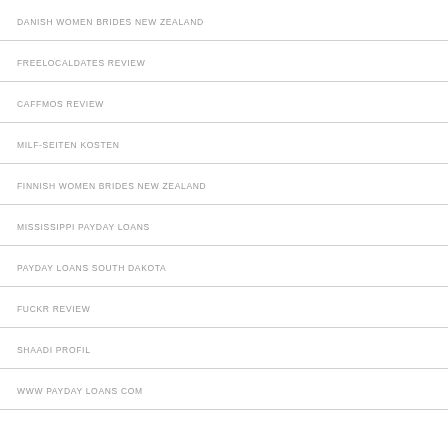DANISH WOMEN BRIDES NEW ZEALAND
FREELOCALDATES REVIEW
CAFFMOS REVIEW
MILF-SEITEN KOSTEN
FINNISH WOMEN BRIDES NEW ZEALAND
MISSISSIPPI PAYDAY LOANS
PAYDAY LOANS SOUTH DAKOTA
FUCKR REVIEW
SHAADI PROFIL
WWW PAYDAY LOANS COM